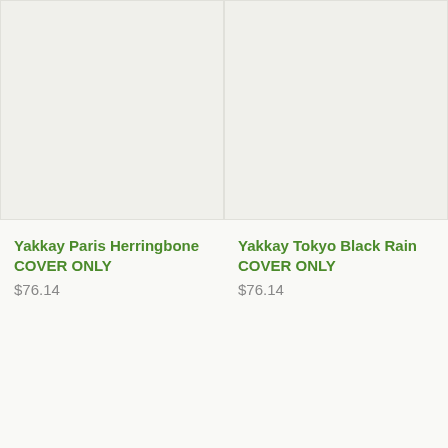[Figure (photo): Product image placeholder for Yakkay Paris Herringbone cover]
Yakkay Paris Herringbone COVER ONLY
$76.14
[Figure (photo): Product image placeholder for Yakkay Tokyo Black Rain cover]
Yakkay Tokyo Black Rain COVER ONLY
$76.14